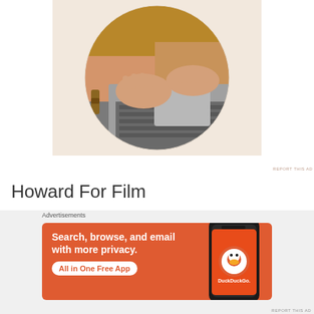[Figure (photo): Circular cropped photo of a person typing on a laptop, wearing a mustard/ochre knitted sweater, on a beige/cream background]
REPORT THIS AD
Howard For Film
Advertisements
[Figure (screenshot): DuckDuckGo advertisement banner in orange/red with text 'Search, browse, and email with more privacy. All in One Free App' and a phone showing the DuckDuckGo app]
REPORT THIS AD